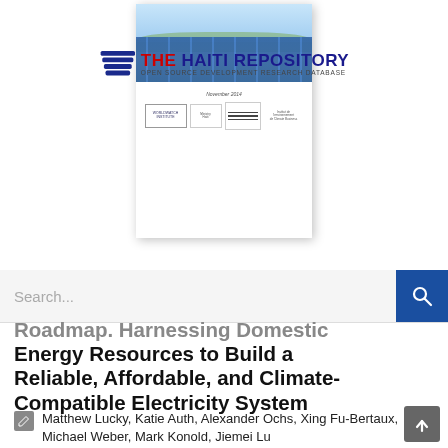[Figure (screenshot): The Haiti Repository website header with logo showing stacked lines icon, 'THE HAITI REPOSITORY' in blue and red text, subtitle 'OPEN SOURCE DEVELOPMENT RESEARCH DATABASE', overlaid on a document thumbnail card showing solar panels photo dated November 2014 with Worldwatch Institute and partner logos]
Search...
Roadmap. Harnessing Domestic Energy Resources to Build a Reliable, Affordable, and Climate-Compatible Electricity System
Matthew Lucky, Katie Auth, Alexander Ochs, Xing Fu-Bertaux, Michael Weber, Mark Konold, Jiemei Lu